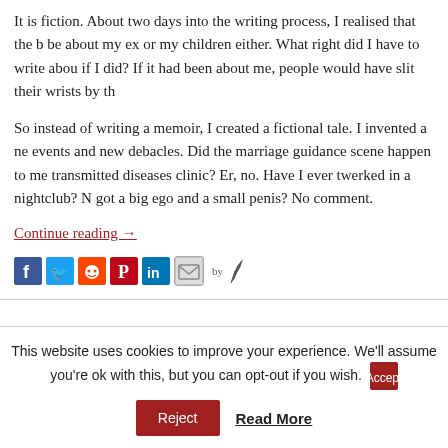It is fiction. About two days into the writing process, I realised that the b... be about my ex or my children either. What right did I have to write abou... if I did? If it had been about me, people would have slit their wrists by th...
So instead of writing a memoir, I created a fictional tale. I invented a ne... events and new debacles. Did the marriage guidance scene happen to me... transmitted diseases clinic? Er, no. Have I ever twerked in a nightclub? N... got a big ego and a small penis? No comment.
Continue reading →
[Figure (other): Social share icons: Facebook, Twitter, Reddit, Pinterest, LinkedIn, Email, followed by 'by' text and a quill/feather icon]
This website uses cookies to improve your experience. We'll assume you're ok with this, but you can opt-out if you wish.
Accept
Reject
Read More